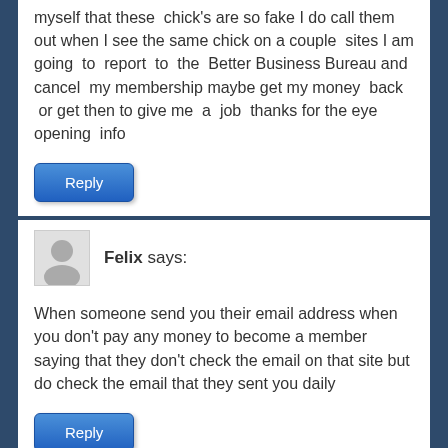myself that these chick's are so fake I do call them out when I see the same chick on a couple sites I am going to report to the Better Business Bureau and cancel my membership maybe get my money back or get then to give me a job thanks for the eye opening info
Reply
Felix says:
When someone send you their email address when you don't pay any money to become a member saying that they don't check the email on that site but do check the email that they sent you daily
Reply
George says: